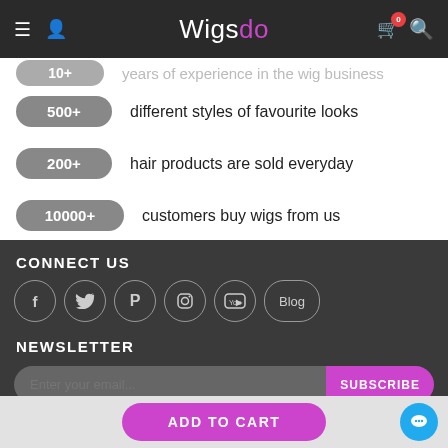Wigsdo — navigation header with hamburger menu, user icon, logo, cart (0), search
10+ years of experience in the wig business
500+ different styles of favourite looks
200+ hair products are sold everyday
10000+ customers buy wigs from us
CONNECT US
[Figure (infographic): Social media icons in circles: Facebook, Twitter, Pinterest, Instagram, YouTube, Blog]
NEWSLETTER
Enter your email... SUBSCRIBE
ADD TO CART